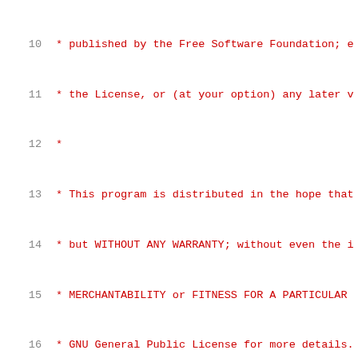10  * published by the Free Software Foundation; e
11  * the License, or (at your option) any later v
12  *
13  * This program is distributed in the hope that
14  * but WITHOUT ANY WARRANTY; without even the i
15  * MERCHANTABILITY or FITNESS FOR A PARTICULAR
16  * GNU General Public License for more details.
17  *
18  * You should have received a copy of the GNU G
19  * along with this program; if not, write to th
20  * Foundation, Inc., 59 Temple Place, Suite 330
21  * MA 02111-1307 USA
22  */
23
24  #include "os_support.h"
25  #include <stdio.h>
26  #include <stdlib.h>
27  #include <unistd.h>
28  #include <fcntl.h>
29  #include <errno.h>
30  #include <string.h>
31  #include <sys/stat.h>